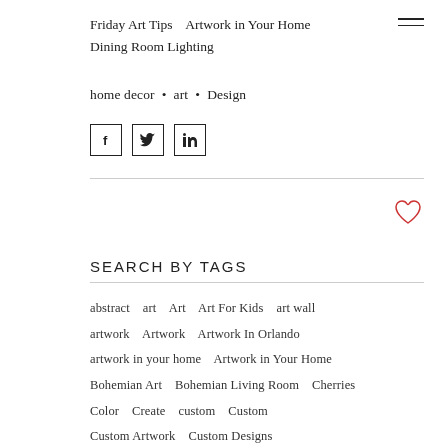Friday Art Tips   Artwork in Your Home
Dining Room Lighting
home decor • art • Design
[Figure (other): Social share buttons: Facebook, Twitter, LinkedIn]
SEARCH BY TAGS
abstract   art   Art   Art For Kids   art wall   artwork   Artwork   Artwork In Orlando   artwork in your home   Artwork in Your Home   Bohemian Art   Bohemian Living Room   Cherries   Color   Create   custom   Custom   Custom Artwork   Custom Designs   Custom Artwork Custom Designs